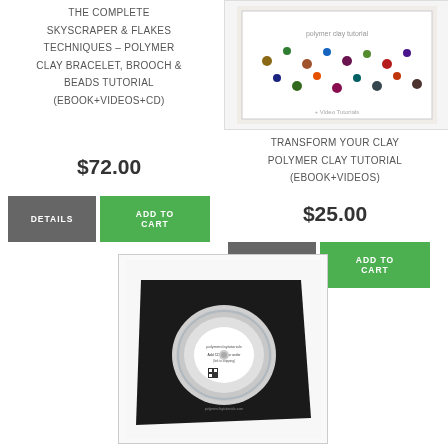THE COMPLETE SKYSCRAPER & FLAKES TECHNIQUES – POLYMER CLAY BRACELET, BROOCH & BEADS TUTORIAL (EBOOK+VIDEOS+CD)
$72.00
DETAILS
ADD TO CART
[Figure (photo): Book cover showing polymer clay beads and jewelry pieces arranged on white background]
TRANSFORM YOUR CLAY POLYMER CLAY TUTORIAL (EBOOK+VIDEOS)
$25.00
DETAILS
ADD TO CART
[Figure (photo): CD disc in black case/sleeve with polymer clay jewelry tutorial content]